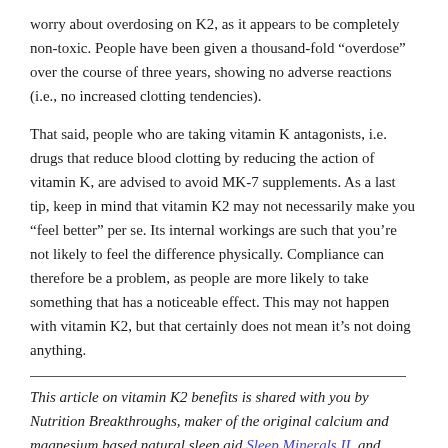worry about overdosing on K2, as it appears to be completely non-toxic. People have been given a thousand-fold “overdose” over the course of three years, showing no adverse reactions (i.e., no increased clotting tendencies).
That said, people who are taking vitamin K antagonists, i.e. drugs that reduce blood clotting by reducing the action of vitamin K, are advised to avoid MK-7 supplements. As a last tip, keep in mind that vitamin K2 may not necessarily make you “feel better” per se. Its internal workings are such that you’re not likely to feel the difference physically. Compliance can therefore be a problem, as people are more likely to take something that has a noticeable effect. This may not happen with vitamin K2, but that certainly does not mean it’s not doing anything.
This article on vitamin K2 benefits is shared with you by Nutrition Breakthroughs, maker of the original calcium and magnesium based natural sleep aid Sleep Minerals II, and Joints and More, the natural remedy for joint relief, aches and pains, stronger hair and nails, and more energy.